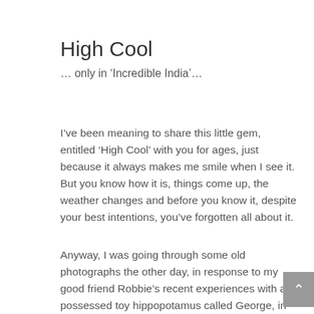High Cool
… only in ‘Incredible India’…
I’ve been meaning to share this little gem, entitled ‘High Cool’ with you for ages, just because it always makes me smile when I see it. But you know how it is, things come up, the weather changes and before you know it, despite your best intentions, you’ve forgotten all about it.
Anyway, I was going through some old photographs the other day, in response to my good friend Robbie’s recent experiences with a possessed toy hippopotamus called George, in Northern Thailand (more about